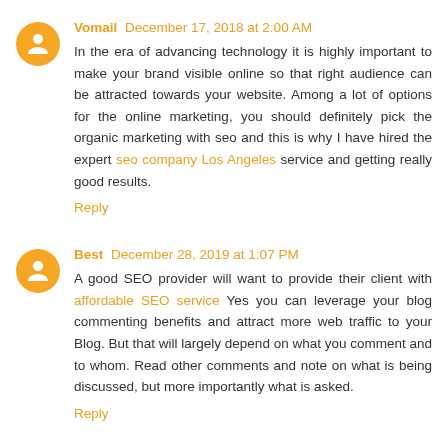Vomail December 17, 2018 at 2:00 AM
In the era of advancing technology it is highly important to make your brand visible online so that right audience can be attracted towards your website. Among a lot of options for the online marketing, you should definitely pick the organic marketing with seo and this is why I have hired the expert seo company Los Angeles service and getting really good results.
Reply
Best December 28, 2019 at 1:07 PM
A good SEO provider will want to provide their client with affordable SEO service Yes you can leverage your blog commenting benefits and attract more web traffic to your Blog. But that will largely depend on what you comment and to whom. Read other comments and note on what is being discussed, but more importantly what is asked.
Reply